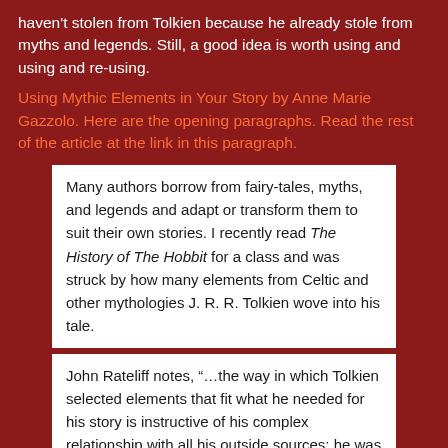haven't stolen from Tolkien because he already stole from myths and legends. Still, a good idea is worth using and using and re-using.
Using Mythic Elements in Your Story by Anne Marie Gazzolo. Here are the opening paragraphs. Read the rest of the article at the link in this paragraph.
Many authors borrow from fairy-tales, myths, and legends and adapt or transform them to suit their own stories. I recently read The History of The Hobbit for a class and was struck by how many elements from Celtic and other mythologies J. R. R. Tolkien wove into his tale.
John Rateliff notes, “…the way in which Tolkien selected elements that fit what he needed for his story is instructive of his complex relationship with all his outside sources: he was neither a naive reader or a